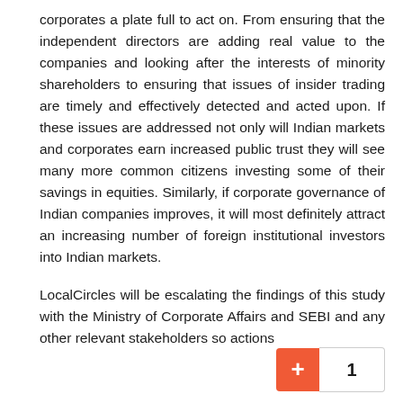corporates a plate full to act on. From ensuring that the independent directors are adding real value to the companies and looking after the interests of minority shareholders to ensuring that issues of insider trading are timely and effectively detected and acted upon. If these issues are addressed not only will Indian markets and corporates earn increased public trust they will see many more common citizens investing some of their savings in equities. Similarly, if corporate governance of Indian companies improves, it will most definitely attract an increasing number of foreign institutional investors into Indian markets.
LocalCircles will be escalating the findings of this study with the Ministry of Corporate Affairs and SEBI and any other relevant stakeholders so actions
1